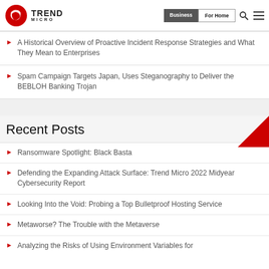Trend Micro | Business | For Home
A Historical Overview of Proactive Incident Response Strategies and What They Mean to Enterprises
Spam Campaign Targets Japan, Uses Steganography to Deliver the BEBLOH Banking Trojan
Recent Posts
Ransomware Spotlight: Black Basta
Defending the Expanding Attack Surface: Trend Micro 2022 Midyear Cybersecurity Report
Looking Into the Void: Probing a Top Bulletproof Hosting Service
Metaworse? The Trouble with the Metaverse
Analyzing the Risks of Using Environment Variables for